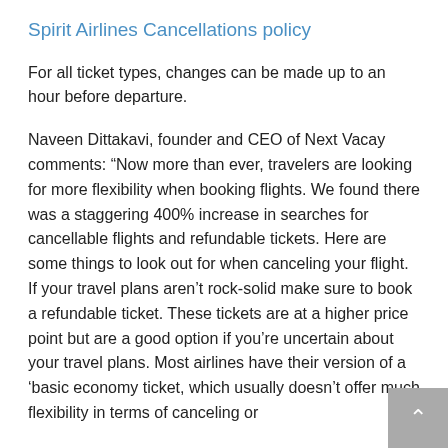Spirit Airlines Cancellations policy
For all ticket types, changes can be made up to an hour before departure.
Naveen Dittakavi, founder and CEO of Next Vacay comments: “Now more than ever, travelers are looking for more flexibility when booking flights. We found there was a staggering 400% increase in searches for cancellable flights and refundable tickets. Here are some things to look out for when canceling your flight. If your travel plans aren’t rock-solid make sure to book a refundable ticket. These tickets are at a higher price point but are a good option if you’re uncertain about your travel plans. Most airlines have their version of a ‘basic economy ticket, which usually doesn’t offer much flexibility in terms of canceling or